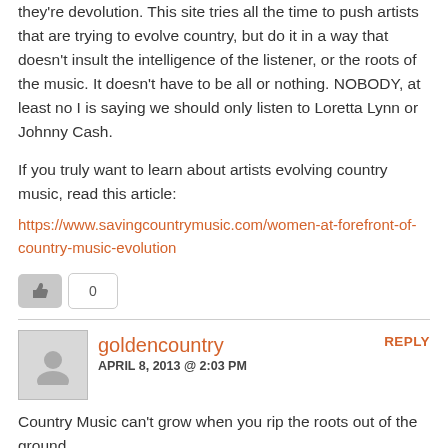they're devolution. This site tries all the time to push artists that are trying to evolve country, but do it in a way that doesn't insult the intelligence of the listener, or the roots of the music. It doesn't have to be all or nothing. NOBODY, at least no I is saying we should only listen to Loretta Lynn or Johnny Cash.
If you truly want to learn about artists evolving country music, read this article:
https://www.savingcountrymusic.com/women-at-forefront-of-country-music-evolution
0
goldencountry
APRIL 8, 2013 @ 2:03 PM
REPLY
Country Music can't grow when you rip the roots out of the ground.
1+
Frank
APRIL 8, 2013 @ 1:43 PM
REPLY